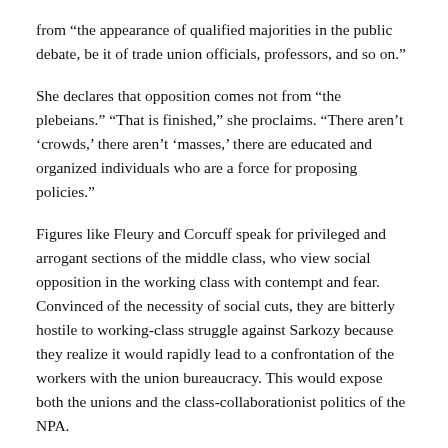from “the appearance of qualified majorities in the public debate, be it of trade union officials, professors, and so on.”
She declares that opposition comes not from “the plebeians.” “That is finished,” she proclaims. “There aren’t ‘crowds,’ there aren’t ‘masses,’ there are educated and organized individuals who are a force for proposing policies.”
Figures like Fleury and Corcuff speak for privileged and arrogant sections of the middle class, who view social opposition in the working class with contempt and fear. Convinced of the necessity of social cuts, they are bitterly hostile to working-class struggle against Sarkozy because they realize it would rapidly lead to a confrontation of the workers with the union bureaucracy. This would expose both the unions and the class-collaborationist politics of the NPA.